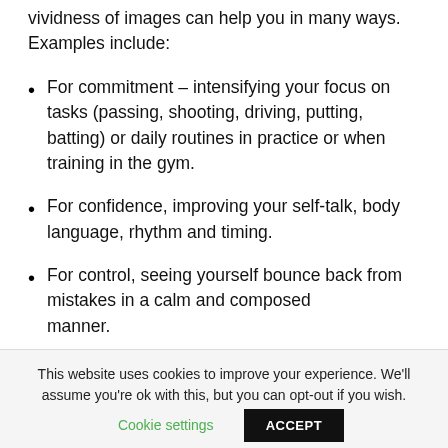vividness of images can help you in many ways.  Examples include:
For commitment – intensifying your focus on tasks (passing, shooting, driving, putting, batting) or daily routines in practice or when training in the gym.
For confidence, improving your self-talk, body language, rhythm and timing.
For control, seeing yourself bounce back from mistakes in a calm and composed manner.
This website uses cookies to improve your experience. We'll assume you're ok with this, but you can opt-out if you wish.
Cookie settings   ACCEPT